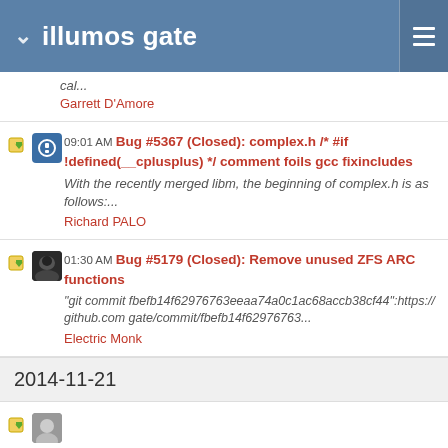illumos gate
cal...
Garrett D'Amore
09:01 AM Bug #5367 (Closed): complex.h /* #if !defined(__cplusplus) */ comment foils gcc fixincludes
With the recently merged libm, the beginning of complex.h is as follows:...
Richard PALO
01:30 AM Bug #5179 (Closed): Remove unused ZFS ARC functions
"git commit fbefb14f62976763eeaa74a0c1ac68accb38cf44":https://github.com gate/commit/fbefb14f62976763...
Electric Monk
2014-11-21